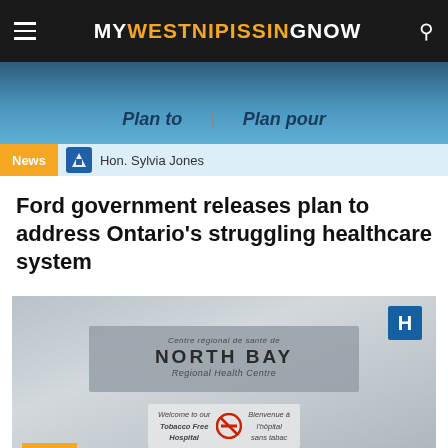MY WESTNIPISSING NOW
[Figure (photo): Top photograph showing a government press conference with bilingual signage reading 'Plan to / Plan pour']
News | Hon. Sylvia Jones
Ford government releases plan to address Ontario's struggling healthcare system
[Figure (photo): Photograph of a sign for North Bay Regional Health Centre (Centre régional de santé de North Bay) with a Tobacco Free Hospital no-smoking sign below]
News
NBRHC auditorium gets a new name